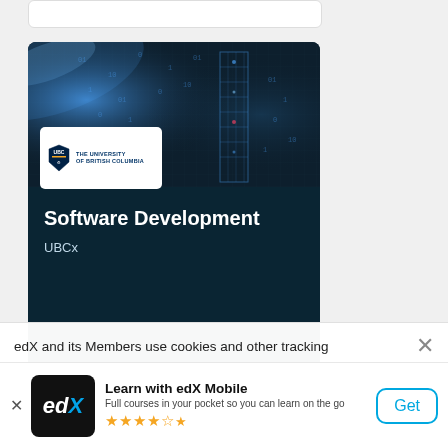[Figure (screenshot): Course card for 'Software Development' by UBCx on edX platform. Dark teal background with a digital/tech image at the top featuring blue light rays and a wireframe figure. UBC (University of British Columbia) logo in white box overlay.]
Software Development
UBCx
edX and its Members use cookies and other tracking
Learn with edX Mobile
Full courses in your pocket so you can learn on the go
★★★★½